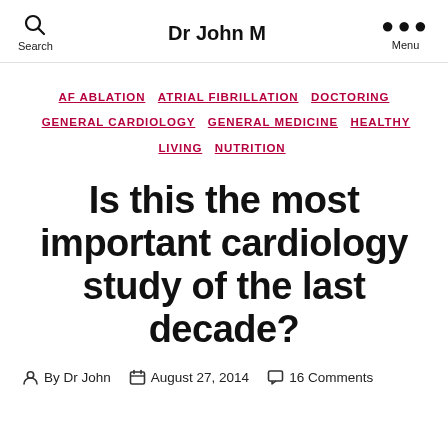Dr John M
AF ABLATION  ATRIAL FIBRILLATION  DOCTORING  GENERAL CARDIOLOGY  GENERAL MEDICINE  HEALTHY LIVING  NUTRITION
Is this the most important cardiology study of the last decade?
By Dr John  August 27, 2014  16 Comments